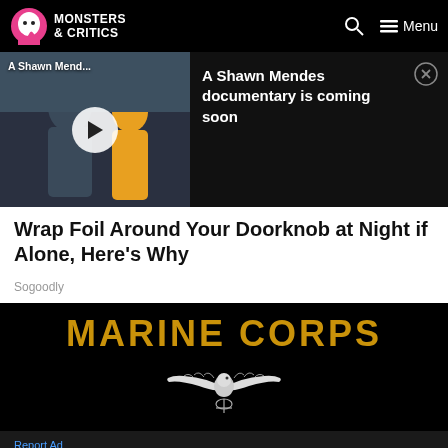MONSTERS & CRITICS
[Figure (screenshot): Video thumbnail showing Shawn Mendes documentary with play button overlay, labeled 'A Shawn Mend...']
A Shawn Mendes documentary is coming soon
Wrap Foil Around Your Doorknob at Night if Alone, Here's Why
Sogoodly
[Figure (photo): Marine Corps recruitment advertisement with yellow text 'MARINE CORPS' and eagle emblem on black background]
Report Ad
[Figure (infographic): Bottom advertisement banner: Save Up to 65% Leesburg Premium Outlets]